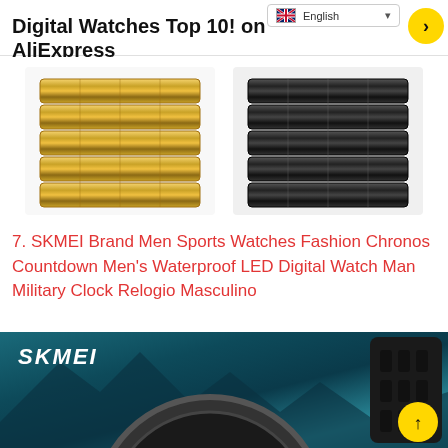Digital Watches Top 10! on AliExpress
[Figure (photo): Two watch band close-ups: gold/yellow metal link bracelet on left, black metal link bracelet on right]
7. SKMEI Brand Men Sports Watches Fashion Chronos Countdown Men's Waterproof LED Digital Watch Man Military Clock Relogio Masculino
[Figure (photo): SKMEI brand product image showing a black military digital watch with LED display, teal/mountain background, SKMEI logo in white italic text at top left]